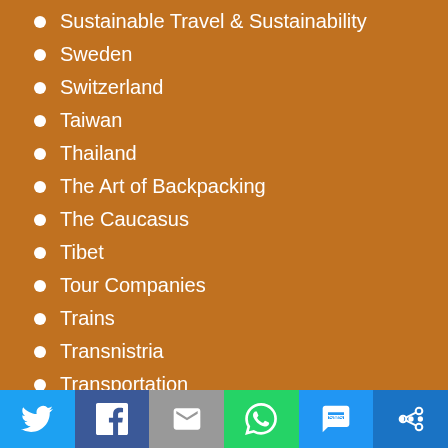Sustainable Travel & Sustainability
Sweden
Switzerland
Taiwan
Thailand
The Art of Backpacking
The Caucasus
Tibet
Tour Companies
Trains
Transnistria
Transportation
Travel Health Insurance
Travel Tools & Resources
Travel with Pets